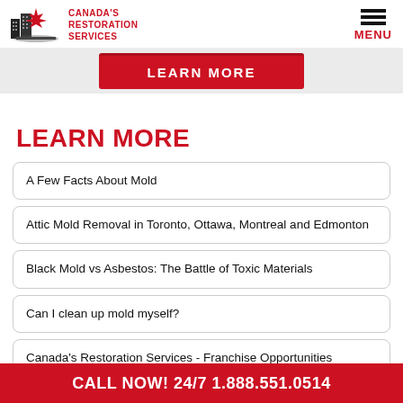CANADA'S RESTORATION SERVICES | MENU
[Figure (other): Red Learn More button on grey background]
LEARN MORE
A Few Facts About Mold
Attic Mold Removal in Toronto, Ottawa, Montreal and Edmonton
Black Mold vs Asbestos: The Battle of Toxic Materials
Can I clean up mold myself?
Canada's Restoration Services - Franchise Opportunities
CALL NOW! 24/7 1.888.551.0514